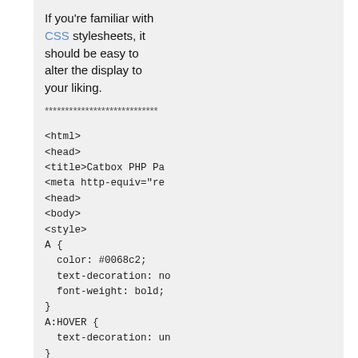If you're familiar with CSS stylesheets, it should be easy to alter the display to your liking.
****************************
<html>
<head>
<title>Catbox PHP Pa
<meta http-equiv="re
<head>
<body>
<style>
A {
  color: #0068c2;
  text-decoration: no
  font-weight: bold;
}
A:HOVER {
  text-decoration: un
}
.catbox {
  margin: 50px;
  color: #000;
  background: #f8f0f0
  padding: 5px;
  border: 1px solid #
  font-family: georgi
  line-height: 150%;